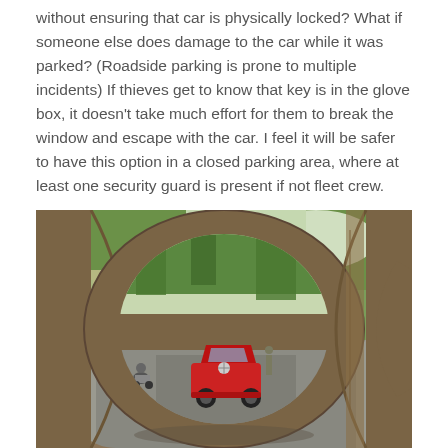without ensuring that car is physically locked? What if someone else does damage to the car while it was parked? (Roadside parking is prone to multiple incidents) If thieves get to know that key is in the glove box, it doesn't take much effort for them to break the window and escape with the car. I feel it will be safer to have this option in a closed parking area, where at least one security guard is present if not fleet crew.
[Figure (photo): Photo taken from inside a curved stone arch structure looking out onto a street. A red Mercedes-Benz car is parked on the road. Trees line the street. A person on a scooter/motorcycle is visible on the left side. The arch frames the view creating a circular window effect.]